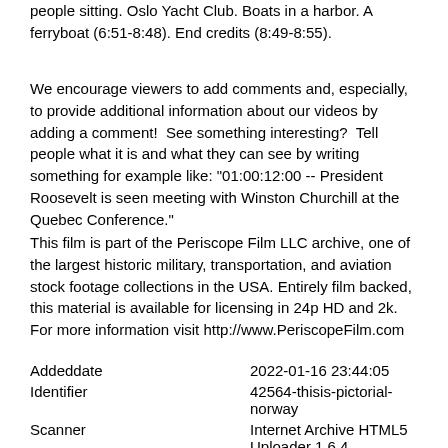people sitting. Oslo Yacht Club. Boats in a harbor. A ferryboat (6:51-8:48). End credits (8:49-8:55).
We encourage viewers to add comments and, especially, to provide additional information about our videos by adding a comment!  See something interesting?  Tell people what it is and what they can see by writing something for example like: "01:00:12:00 -- President Roosevelt is seen meeting with Winston Churchill at the Quebec Conference."
This film is part of the Periscope Film LLC archive, one of the largest historic military, transportation, and aviation stock footage collections in the USA. Entirely film backed, this material is available for licensing in 24p HD and 2k. For more information visit http://www.PeriscopeFilm.com
| Addeddate | 2022-01-16 23:44:05 |
| Identifier | 42564-thisis-pictorial-norway |
| Scanner | Internet Archive HTML5 Uploader 1.6.4 |